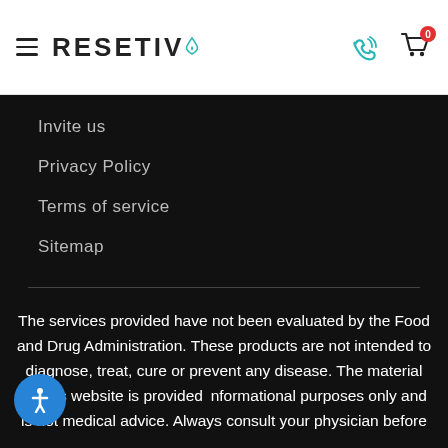RESET IV
Invite us
Privacy Policy
Terms of service
Sitemap
The services provided have not been evaluated by the Food and Drug Administration. These products are not intended to diagnose, treat, cure or prevent any disease. The material on this website is provided informational purposes only and is not medical advice. Always consult your physician before